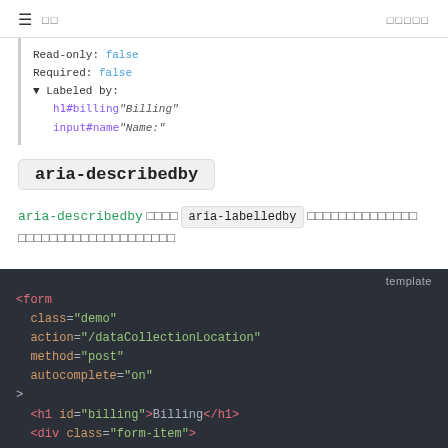≡  □□  □□□□□
Read-only: false
Required: false
▼ Labeled by:
  h1#billing "Billing"
  input#name "Name:"
aria-describedby
aria-describedby □□□□ aria-labelledby □□□□□□□□□□□□□□ □□□□□□□□□□□□□□□□□□□□
[Figure (screenshot): Dark code block showing HTML template with form element containing class='demo', action='/dataCollectionLocation', method='post', autocomplete='on', then h1 id='billing'>Billing</h1> and div class='form-item']